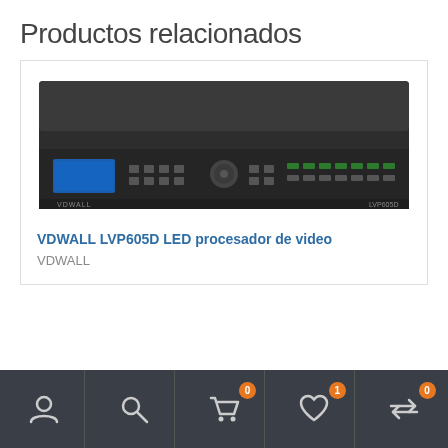Productos relacionados
[Figure (photo): VDWALL LVP605D LED video processor device - front panel view showing dark metal rack unit with blue LED display, buttons and controls]
VDWALL LVP605D LED procesador de video
VDWALL
Navigation bar with icons: user, search, cart (0), wishlist (1), compare (0)